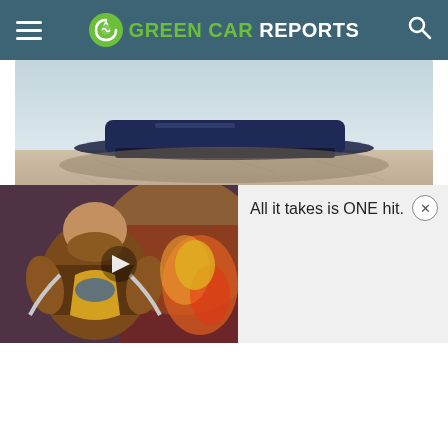GREEN CAR REPORTS
[Figure (photo): Bottom portion of a dark blue Lucid Air Sapphire vehicle on a light desert/salt flat surface, showing the lower body and ground shadow]
Three-motor Lucid Air Sapphire bows as the most powerful sedan in the world—and it's an EV
The tri-motor Air Sapphire could beat the Tesla
[Figure (illustration): Advertisement showing an animated warrior character on the left side and the text 'All it takes is ONE hit.' on the right side with a close button]